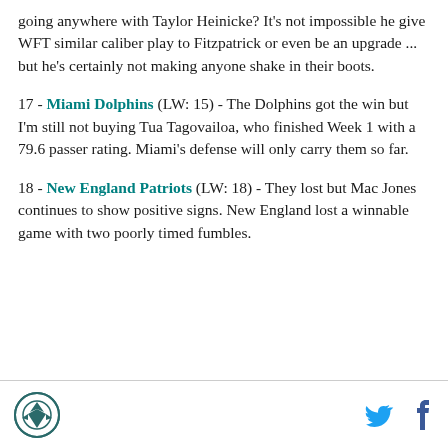going anywhere with Taylor Heinicke? It's not impossible he give WFT similar caliber play to Fitzpatrick or even be an upgrade ... but he's certainly not making anyone shake in their boots.
17 - Miami Dolphins (LW: 15) - The Dolphins got the win but I'm still not buying Tua Tagovailoa, who finished Week 1 with a 79.6 passer rating. Miami's defense will only carry them so far.
18 - New England Patriots (LW: 18) - They lost but Mac Jones continues to show positive signs. New England lost a winnable game with two poorly timed fumbles.
Logo and social media icons